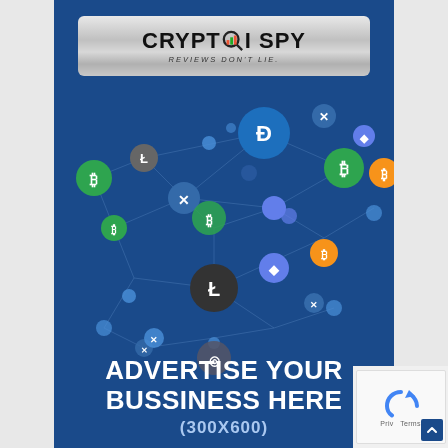[Figure (logo): CryptoISpy logo with magnifying glass and bar chart icon, subtitle REVIEWS DON'T LIE, on silver metallic background]
[Figure (illustration): Dark blue background with interconnected cryptocurrency coin icons (Dash, Bitcoin, Litecoin, Ethereum, Ripple, etc.) connected by lines forming a network graph]
ADVERTISE YOUR BUSSINESS HERE
(300X600)